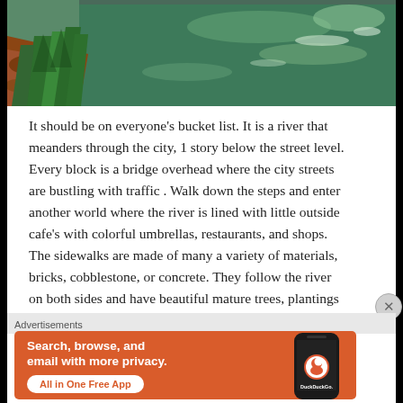[Figure (photo): A river or pond with green water reflecting trees and sky, with green grassy plants and reddish-brown rocks/mulch along the bank in the foreground.]
It should be on everyone's bucket list. It is a river that meanders through the city, 1 story below the street level. Every block is a bridge overhead where the city streets are bustling with traffic . Walk down the steps and enter another world where the river is lined with little outside cafe's with colorful umbrellas, restaurants, and shops. The sidewalks are made of many a variety of materials, bricks, cobblestone, or concrete. They follow the river on both sides and have beautiful mature trees, plantings of flowers and tropical
Advertisements
[Figure (screenshot): DuckDuckGo advertisement banner with orange background. Text reads: Search, browse, and email with more privacy. All in One Free App. Shows a phone with DuckDuckGo logo.]